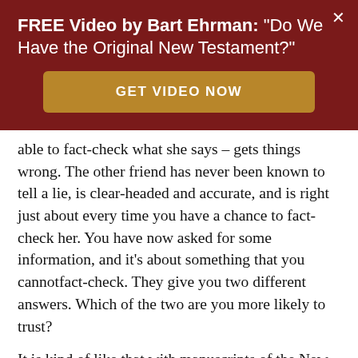FREE Video by Bart Ehrman: "Do We Have the Original New Testament?"
[Figure (other): GET VIDEO NOW button — gold/brown rounded rectangle call-to-action button]
able to fact-check what she says – gets things wrong. The other friend has never been known to tell a lie, is clear-headed and accurate, and is right just about every time you have a chance to fact-check her. You have now asked for some information, and it's about something that you cannotfact-check. They give you two different answers. Which of the two are you more likely to trust?
It is kind of like that with manuscripts of the New Testament. There are places where you can see if a manuscript is internally consistent with itself; you can see if it is prone to making mistakes; you can see if it is susceptible to making errors. How can you tell? Well, suppose the manuscript regularly spells words in different ways...